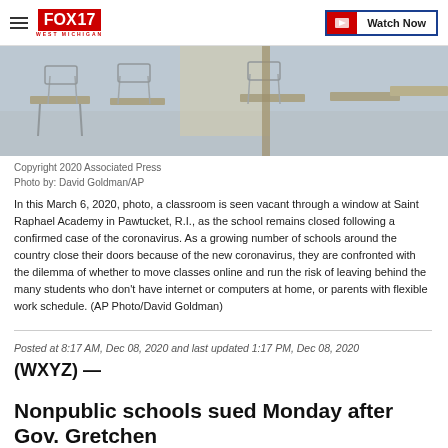FOX 17 WEST MICHIGAN | Watch Now
[Figure (photo): Empty classroom seen through a window, showing overturned chairs on desks in a vacant school room]
Copyright 2020 Associated Press
Photo by: David Goldman/AP
In this March 6, 2020, photo, a classroom is seen vacant through a window at Saint Raphael Academy in Pawtucket, R.I., as the school remains closed following a confirmed case of the coronavirus. As a growing number of schools around the country close their doors because of the new coronavirus, they are confronted with the dilemma of whether to move classes online and run the risk of leaving behind the many students who don't have internet or computers at home, or parents with flexible work schedule. (AP Photo/David Goldman)
Posted at 8:17 AM, Dec 08, 2020 and last updated 1:17 PM, Dec 08, 2020
(WXYZ) —
Nonpublic schools sued Monday after Gov. Gretchen